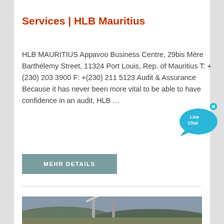[Figure (photo): Top partial image of an industrial or outdoor scene, cropped at top of page]
Services | HLB Mauritius
HLB MAURITIUS Appavoo Business Centre, 29bis Mère Barthélemy Street, 11324 Port Louis, Rep. of Mauritius T: +(230) 203 3900 F: +(230) 211 5123 Audit & Assurance Because it has never been more vital to be able to have confidence in an audit, HLB …
[Figure (screenshot): Live Chat widget bubble with cyan speech bubble and 'Live Chat' text, with close X button]
[Figure (photo): Bottom partial photo of industrial mining conveyor belt equipment on a hillside]